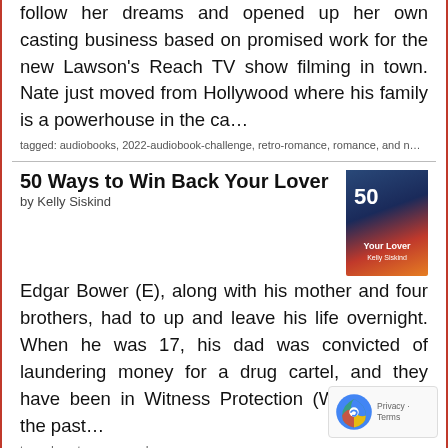follow her dreams and opened up her own casting business based on promised work for the new Lawson's Reach TV show filming in town. Nate just moved from Hollywood where his family is a powerhouse in the ca...
tagged: audiobooks, 2022-audiobook-challenge, retro-romance, romance, and n...
50 Ways to Win Back Your Lover
by Kelly Siskind
Edgar Bower (E), along with his mother and four brothers, had to up and leave his life overnight. When he was 17, his dad was convicted of laundering money for a drug cartel, and they have been in Witness Protection (WITSEC) for the past...
tagged: contemporary and romance